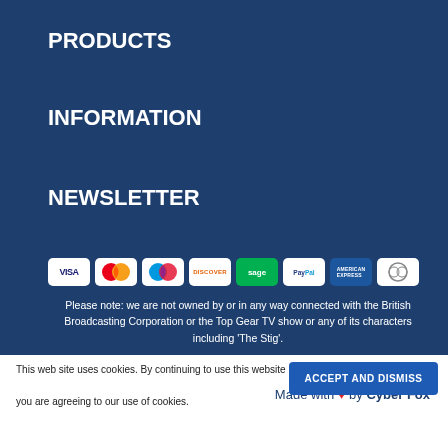PRODUCTS
INFORMATION
NEWSLETTER
[Figure (other): Payment method icons: VISA, Mastercard, Maestro, Discover, Sage, PayPal, American Express, Diners Club]
Please note: we are not owned by or in any way connected with the British Broadcasting Corporation or the Top Gear TV show or any of its characters including 'The Stig'.
Made with ❤ by Cyber Fox
This web site uses cookies. By continuing to use this website you are agreeing to our use of cookies.
ACCEPT AND DISMISS